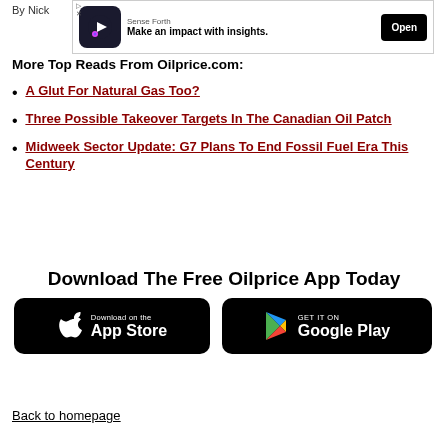By Nick
[Figure (screenshot): Advertisement banner for Sense Forth app with logo, text 'Make an impact with insights.' and Open button]
More Top Reads From Oilprice.com:
A Glut For Natural Gas Too?
Three Possible Takeover Targets In The Canadian Oil Patch
Midweek Sector Update: G7 Plans To End Fossil Fuel Era This Century
Download The Free Oilprice App Today
[Figure (logo): Download on the App Store button (Apple)]
[Figure (logo): Get it on Google Play button]
Back to homepage